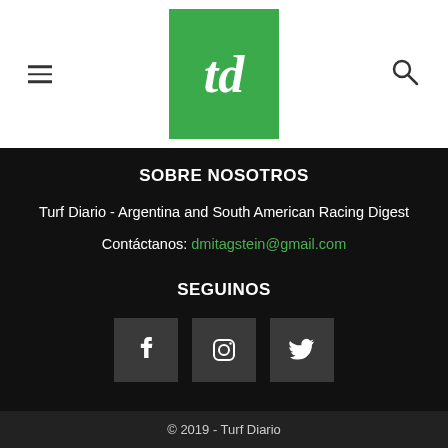[Figure (logo): Turf Diario logo - green background with white italic 'td' text]
SOBRE NOSOTROS
Turf Diario - Argentina and South American Racing Digest
Contáctanos: dmitagstein@gmail.com
SEGUINOS
[Figure (illustration): Three social media icons: Facebook, Instagram, Twitter]
© 2019 - Turf Diario